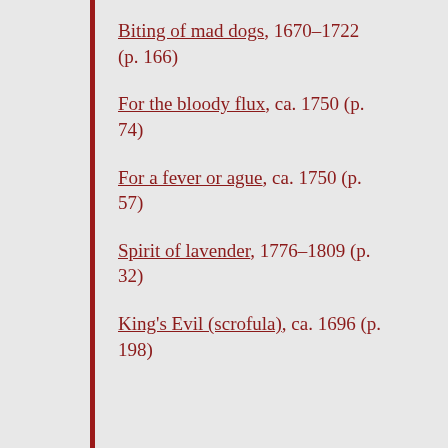Biting of mad dogs, 1670–1722 (p. 166)
For the bloody flux, ca. 1750 (p. 74)
For a fever or ague, ca. 1750 (p. 57)
Spirit of lavender, 1776–1809 (p. 32)
King's Evil (scrofula), ca. 1696 (p. 198)